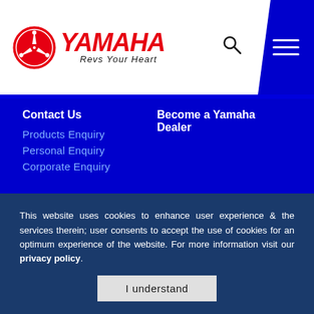[Figure (logo): Yamaha logo with tuning fork emblem, red YAMAHA text in italic bold, and 'Revs Your Heart' tagline in italic]
Contact Us
Products Enquiry
Personal Enquiry
Corporate Enquiry
Become a Yamaha Dealer
Rev your Career
About HR
Why Join Yamaha
This website uses cookies to enhance user experience & the services therein; user consents to accept the use of cookies for an optimum experience of the website. For more information visit our privacy policy.